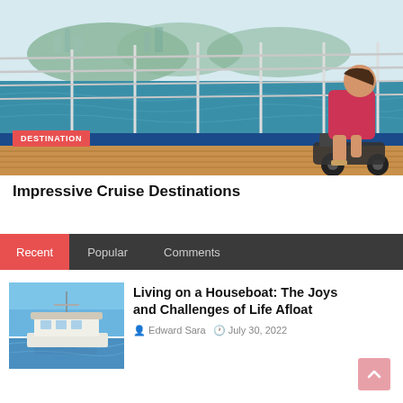[Figure (photo): Woman in red dress sitting on a motorized scooter/wheelchair on a cruise ship deck with ocean and coastal town in background. Railing visible, wooden deck floor.]
DESTINATION
Impressive Cruise Destinations
Recent  Popular  Comments
[Figure (photo): A houseboat floating on calm blue water with clear sky in background.]
Living on a Houseboat: The Joys and Challenges of Life Afloat
Edward Sara  July 30, 2022